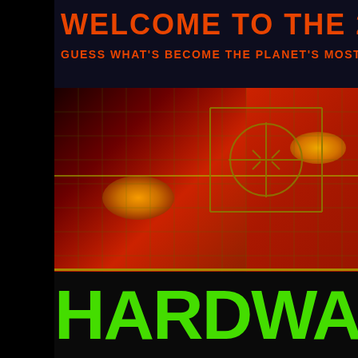WELCOME TO THE 21st CE...
GUESS WHAT'S BECOME THE PLANET'S MOST ENDANGER...
[Figure (photo): Movie poster for HARDWARE showing a close-up face viewed through a targeting reticle/crosshair overlay on a red-tinted grid background. Yellow glowing eyes visible. Dark dystopian aesthetic.]
HARDWA...